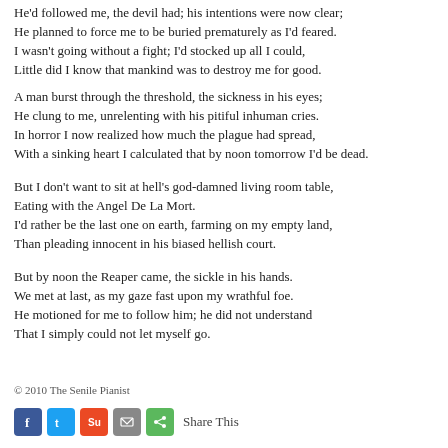He'd followed me, the devil had; his intentions were now clear;
He planned to force me to be buried prematurely as I'd feared.
I wasn't going without a fight; I'd stocked up all I could,
Little did I know that mankind was to destroy me for good.
A man burst through the threshold, the sickness in his eyes;
He clung to me, unrelenting with his pitiful inhuman cries.
In horror I now realized how much the plague had spread,
With a sinking heart I calculated that by noon tomorrow I'd be dead.
But I don't want to sit at hell's god-damned living room table,
Eating with the Angel De La Mort.
I'd rather be the last one on earth, farming on my empty land,
Than pleading innocent in his biased hellish court.
But by noon the Reaper came, the sickle in his hands.
We met at last, as my gaze fast upon my wrathful foe.
He motioned for me to follow him; he did not understand
That I simply could not let myself go.
© 2010 The Senile Pianist
[Figure (infographic): Social share buttons: Facebook, Twitter, StumbleUpon, Email, ShareThis, followed by 'Share This' text]